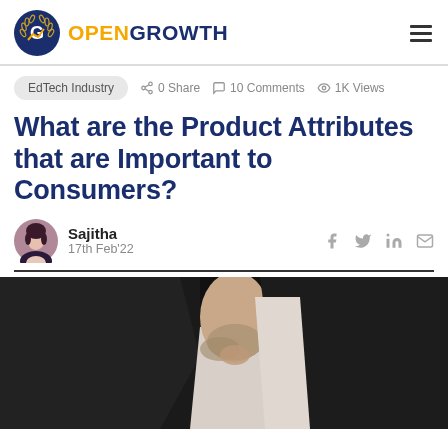OPENGROWTH
EdTech Industry   0 Share   10 Comments   1K Views
What are the Product Attributes that are Important to Consumers?
Sajitha
17th Feb'22
[Figure (photo): Close-up photo of a man in a dark blazer and white shirt, partially visible from chin to chest, dark background]